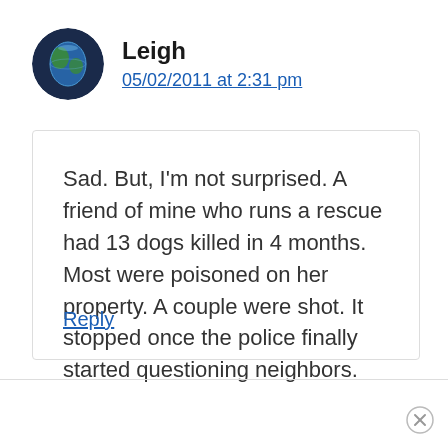[Figure (illustration): Circular avatar showing a globe/earth image on dark background]
Leigh
05/02/2011 at 2:31 pm
Sad. But, I’m not surprised. A friend of mine who runs a rescue had 13 dogs killed in 4 months. Most were poisoned on her property. A couple were shot. It stopped once the police finally started questioning neighbors.
Reply